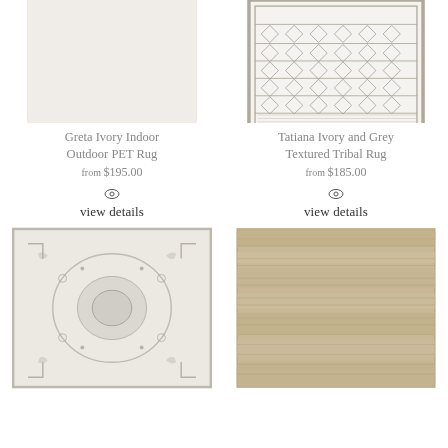[Figure (photo): Greta Ivory Indoor Outdoor PET Rug - plain cream/ivory colored rug]
Greta Ivory Indoor Outdoor PET Rug
from $195.00
view details
[Figure (photo): Tatiana Ivory and Grey Textured Tribal Rug - patterned geometric tribal design rug]
Tatiana Ivory and Grey Textured Tribal Rug
from $185.00
view details
[Figure (photo): Distressed vintage-style light grey and white medallion area rug]
[Figure (photo): Natural tan/beige woven jute rug with horizontal stripe texture]